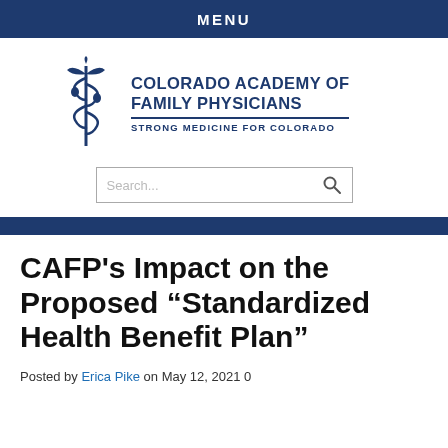MENU
[Figure (logo): Colorado Academy of Family Physicians logo with caduceus symbol and text: COLORADO ACADEMY OF FAMILY PHYSICIANS — STRONG MEDICINE FOR COLORADO]
CAFP’s Impact on the Proposed “Standardized Health Benefit Plan”
Posted by Erica Pike on May 12, 2021 0